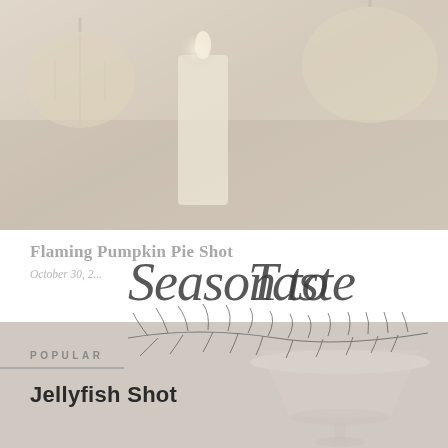[Figure (photo): Faded photo of pumpkins and a glowing candle on a dark wooden surface, heavily washed out with light overlay]
Flaming Pumpkin Pie Shot
October 30, 2...
[Figure (logo): Season to Taste cursive script logo with botanical branch illustration underneath]
POPULAR
Jellyfish Shot